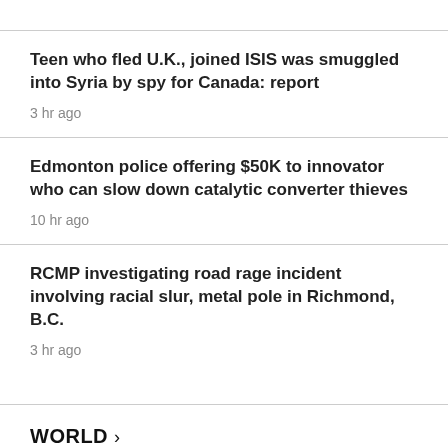Teen who fled U.K., joined ISIS was smuggled into Syria by spy for Canada: report
3 hr ago
Edmonton police offering $50K to innovator who can slow down catalytic converter thieves
10 hr ago
RCMP investigating road rage incident involving racial slur, metal pole in Richmond, B.C.
3 hr ago
WORLD >